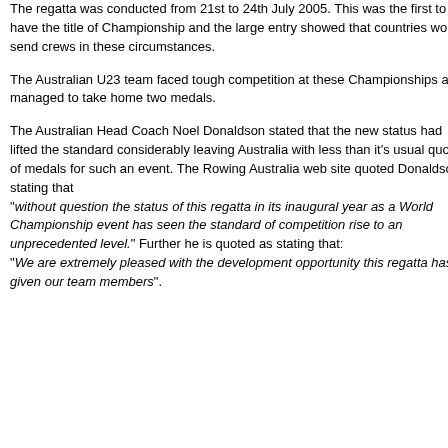The regatta was conducted from 21st to 24th July 2005. This was the first to have the title of Championship and the large entry showed that countries would send crews in these circumstances.
The Australian U23 team faced tough competition at these Championships and managed to take home two medals.
The Australian Head Coach Noel Donaldson stated that the new status had lifted the standard considerably leaving Australia with less than it's usual quota of medals for such an event. The Rowing Australia web site quoted Donaldson stating that "without question the status of this regatta in its inaugural year as a World Championship event has seen the standard of competition rise to an unprecedented level." Further he is quoted as stating that: "We are extremely pleased with the development opportunity this regatta has given our team members".
Men's L
Bow: G
2: David
3: Chris
4: Seba
5: Brent
6: Ian A
7: Fergu
Str: Ste
Cox: Ti
Cch: An
Men's C
Bow: An
2: Andre
3: Sam
Str: Dav
Cch: Ja
Men's L
Bow: Hu
2: Chris
3: Howa
Str: Cad
Cch: Ph
Men's L
Bow: Ali
2: M...